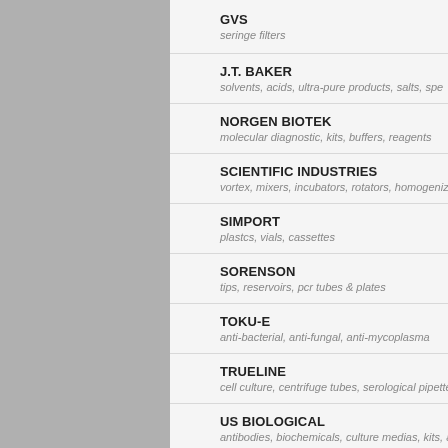GVS
seringe filters
J.T. BAKER
solvents, acids, ultra-pure products, salts, spe
NORGEN BIOTEK
molecular diagnostic, kits, buffers, reagents
SCIENTIFIC INDUSTRIES
vortex, mixers, incubators, rotators, homogenizers
SIMPORT
plastcs, vials, cassettes
SORENSON
tips, reservoirs, pcr tubes & plates
TOKU-E
anti-bacterial, anti-fungal, anti-mycoplasma
TRUELINE
cell culture, centrifuge tubes, serological pipettes
US BIOLOGICAL
antibodies, biochemicals, culture medias, kits, assays